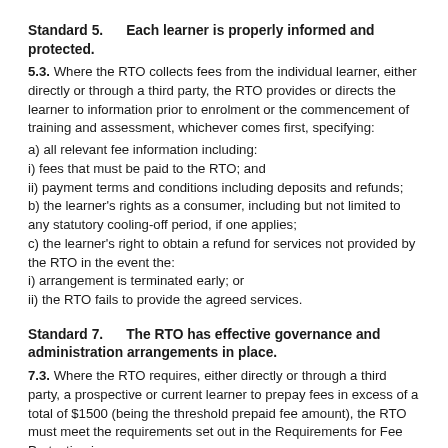Standard 5.      Each learner is properly informed and protected.
5.3. Where the RTO collects fees from the individual learner, either directly or through a third party, the RTO provides or directs the learner to information prior to enrolment or the commencement of training and assessment, whichever comes first, specifying:
a) all relevant fee information including:
i) fees that must be paid to the RTO; and
ii) payment terms and conditions including deposits and refunds;
b) the learner's rights as a consumer, including but not limited to any statutory cooling-off period, if one applies;
c) the learner's right to obtain a refund for services not provided by the RTO in the event the:
i) arrangement is terminated early; or
ii) the RTO fails to provide the agreed services.
Standard 7.      The RTO has effective governance and administration arrangements in place.
7.3. Where the RTO requires, either directly or through a third party, a prospective or current learner to prepay fees in excess of a total of $1500 (being the threshold prepaid fee amount), the RTO must meet the requirements set out in the Requirements for Fee Protection in